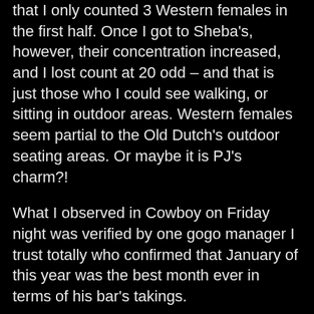that I only counted 3 Western females in the first half. Once I got to Sheba's, however, their concentration increased, and I lost count at 20 odd – and that is just those who I could see walking, or sitting in outdoor areas. Western females seem partial to the Old Dutch's outdoor seating areas. Or maybe it is PJ's charm?!
What I observed in Cowboy on Friday night was verified by one gogo manager I trust totally who confirmed that January of this year was the best month ever in terms of his bar's takings.
The same bar manager has a theory about why so many Western women and Khao San types are seen every night on Cowboy these days. He reckons it goes back to Soi Cowboy featuring in Hangover 2.